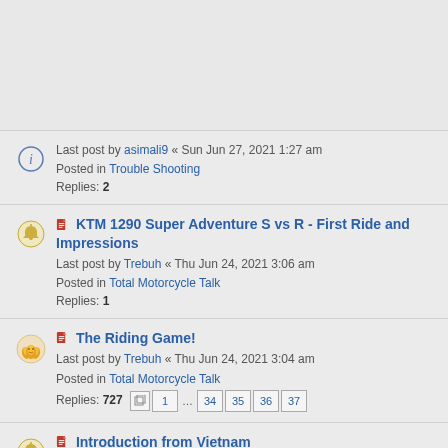Last post by asimali9 « Sun Jun 27, 2021 1:27 am
Posted in Trouble Shooting
Replies: 2
KTM 1290 Super Adventure S vs R - First Ride and Impressions
Last post by Trebuh « Thu Jun 24, 2021 3:06 am
Posted in Total Motorcycle Talk
Replies: 1
The Riding Game!
Last post by Trebuh « Thu Jun 24, 2021 3:04 am
Posted in Total Motorcycle Talk
Replies: 727 [1 ... 34 35 36 37]
Introduction from Vietnam
Last post by Anggwtr « Wed Jun 23, 2021 1:34 am
Posted in Start Your Engines - Introduce Yourself
Replies: 5